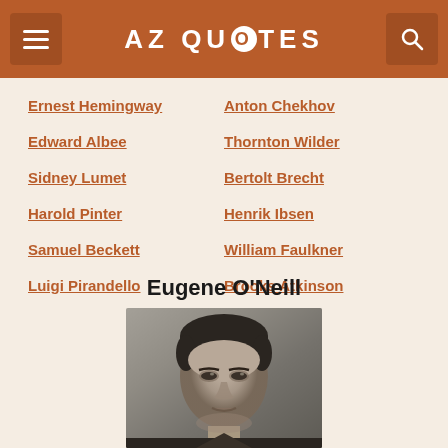AZ QUOTES
Ernest Hemingway
Anton Chekhov
Edward Albee
Thornton Wilder
Sidney Lumet
Bertolt Brecht
Harold Pinter
Henrik Ibsen
Samuel Beckett
William Faulkner
Luigi Pirandello
Brooks Atkinson
Eugene O'Neill
[Figure (photo): Black and white portrait photograph of Eugene O'Neill]